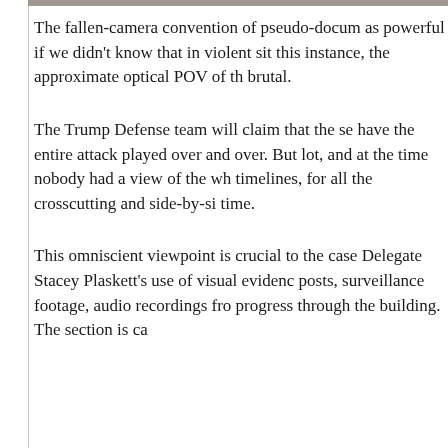The fallen-camera convention of pseudo-docum as powerful if we didn't know that in violent si this instance, the approximate optical POV of th brutal.
The Trump Defense team will claim that the se have the entire attack played over and over. But lot, and at the time nobody had a view of the wh timelines, for all the crosscutting and side-by-si time.
This omniscient viewpoint is crucial to the case Delegate Stacey Plaskett's use of visual evidenc posts, surveillance footage, audio recordings fro progress through the building. The section is ca